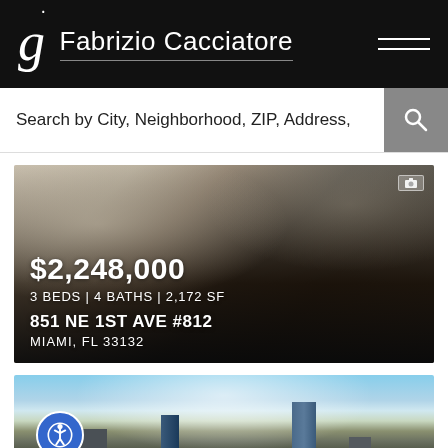Fabrizio Cacciatore
Search by City, Neighborhood, ZIP, Address,
[Figure (photo): Interior photo of a luxury apartment living room with a black sofa, wood coffee table, wicker chair, and city view through large windows. Overlay text shows $2,248,000 listing price, 3 BEDS | 4 BATHS | 2,172 SF, address 851 NE 1ST AVE #812, MIAMI, FL 33132]
[Figure (photo): Aerial/street-level photo of Miami skyline with modern high-rise buildings including glass towers against a partly cloudy sky]